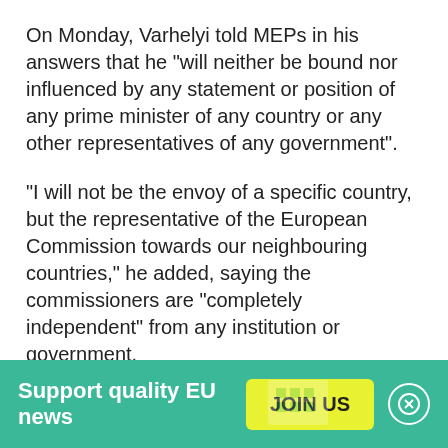On Monday, Varhelyi told MEPs in his answers that he "will neither be bound nor influenced by any statement or position of any prime minister of any country or any other representatives of any government".
"I will not be the envoy of a specific country, but the representative of the European Commission towards our neighbouring countries," he added, saying the commissioners are "completely independent" from any institution or government.
To a question on Orban's recent comments offering help to Turkey and Azerbaijan in their European aspirations, Varhelyi said that while "Turkey is...
Support quality EU news  JOIN US